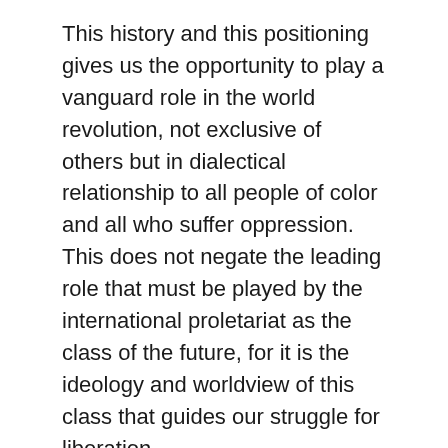This history and this positioning gives us the opportunity to play a vanguard role in the world revolution, not exclusive of others but in dialectical relationship to all people of color and all who suffer oppression. This does not negate the leading role that must be played by the international proletariat as the class of the future, for it is the ideology and worldview of this class that guides our struggle for liberation.
The New Afrikan Nation is primarily a proletarian nation – on the whole, we own nothing and are forced to sell our labor power to survive or otherwise to survive by any means necessary. Even most of our lumpen-proletariat has an on again off again relationship with wage slavery. Our Party must work ceaselessly to ground our cadre and